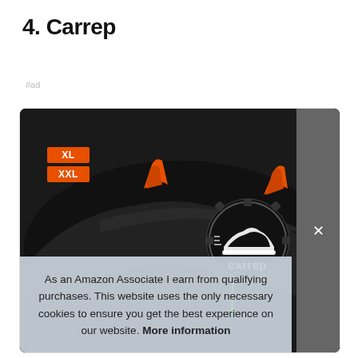4. Carrep
#ad
[Figure (photo): Product photo of a Carrep black car cover with orange and green accents. Size badges XL and XXL shown in the top-left corner. The Carrep logo is visible on the cover.]
As an Amazon Associate I earn from qualifying purchases. This website uses the only necessary cookies to ensure you get the best experience on our website. More information